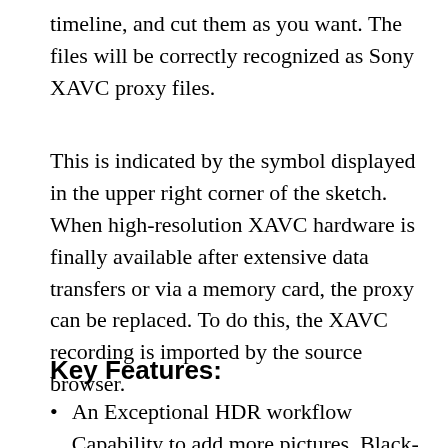timeline, and cut them as you want. The files will be correctly recognized as Sony XAVC proxy files.
This is indicated by the symbol displayed in the upper right corner of the sketch. When high-resolution XAVC hardware is finally available after extensive data transfers or via a memory card, the proxy can be replaced. To do this, the XAVC recording is imported by the source browser.
Key Features:
An Exceptional HDR workflow Capability to add more pictures, Black-magic to